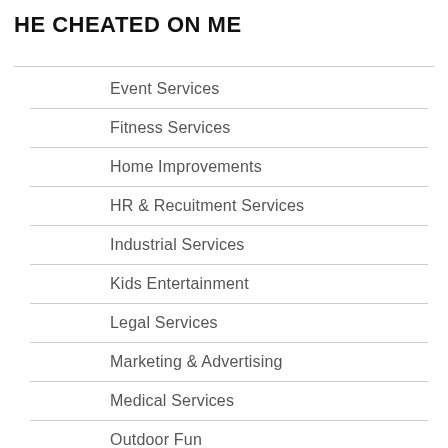HE CHEATED ON ME
Event Services
Fitness Services
Home Improvements
HR & Recuitment Services
Industrial Services
Kids Entertainment
Legal Services
Marketing & Advertising
Medical Services
Outdoor Fun